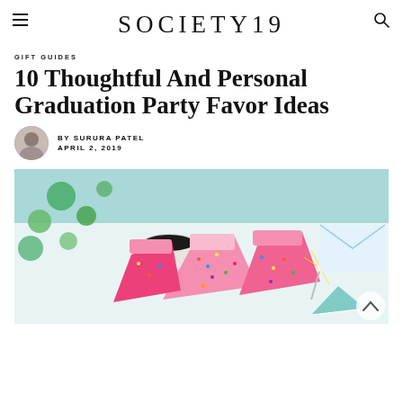SOCIETY19
GIFT GUIDES
10 Thoughtful And Personal Graduation Party Favor Ideas
BY SURURA PATEL
APRIL 2, 2019
[Figure (photo): Flatlay of pink frosted cake slices with colorful sprinkles, a cup of coffee, green circular confetti, a party hat, and a sparkler on a light blue background]